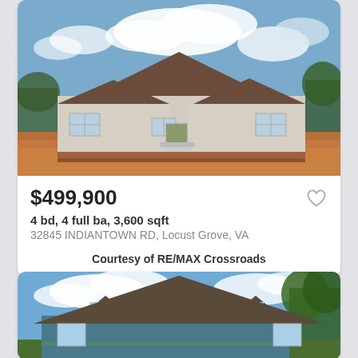[Figure (photo): Exterior photo of a single-story ranch-style new construction home with tan/gray siding, brown roof, front steps, cloudy sky and red dirt yard]
$499,900
4 bd, 4 full ba, 3,600 sqft
32845 INDIANTOWN RD, Locust Grove, VA
Courtesy of RE/MAX Crossroads
[Figure (photo): Exterior photo of a two-story Cape Cod style home with blue-green siding, dormer windows, wraparound porch, and trees in background under blue sky]